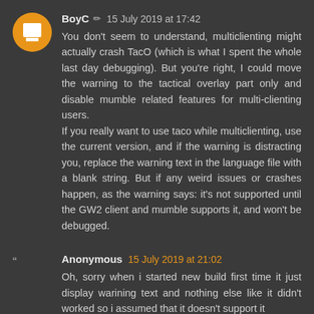BoyC ✏ 15 July 2019 at 17:42
You don't seem to understand, multiclienting might actually crash TacO (which is what I spent the whole last day debugging). But you're right, I could move the warning to the tactical overlay part only and disable mumble related features for multi-clienting users.
If you really want to use taco while multiclienting, use the current version, and if the warning is distracting you, replace the warning text in the language file with a blank string. But if any weird issues or crashes happen, as the warning says: it's not supported until the GW2 client and mumble supports it, and won't be debugged.
Anonymous 15 July 2019 at 21:02
Oh, sorry when i started new build first time it just display warining text and nothing else like it didn't worked so i assumed that it doesn't support it